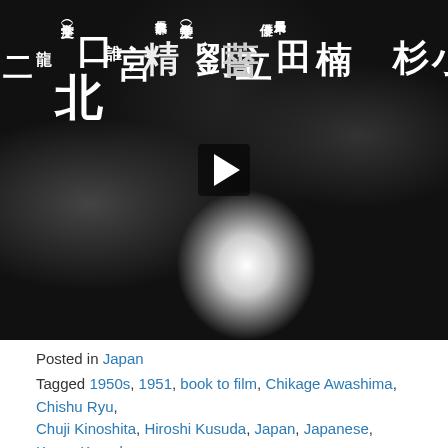[Figure (screenshot): Black and white video thumbnail showing Japanese kanji characters on a smoky/fire background with a play button overlay in the center]
Posted in Japan
Tagged 1950s, 1951, book to film, Chikage Awashima, Chishu Ryu, Chuji Kinoshita, Hiroshi Kusuda, Japan, Japanese, Kaoru Kusuda